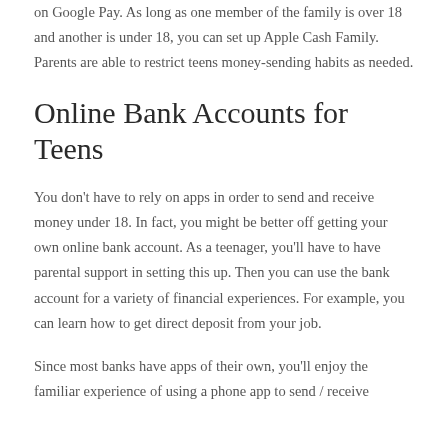on Google Pay. As long as one member of the family is over 18 and another is under 18, you can set up Apple Cash Family. Parents are able to restrict teens money-sending habits as needed.
Online Bank Accounts for Teens
You don't have to rely on apps in order to send and receive money under 18. In fact, you might be better off getting your own online bank account. As a teenager, you'll have to have parental support in setting this up. Then you can use the bank account for a variety of financial experiences. For example, you can learn how to get direct deposit from your job.
Since most banks have apps of their own, you'll enjoy the familiar experience of using a phone app to send / receive